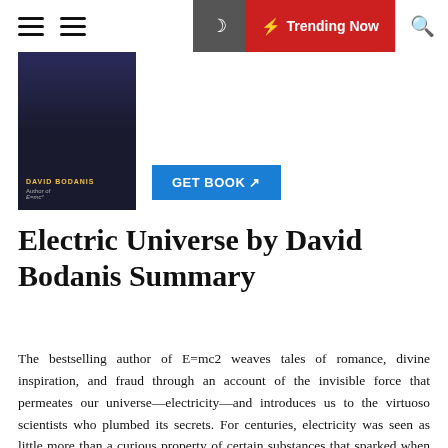Trending Now
[Figure (illustration): Book cover of Electric Universe by David Bodanis, dark navy background with author name in gold]
[Figure (other): GET BOOK button in blue]
Electric Universe by David Bodanis Summary
The bestselling author of E=mc2 weaves tales of romance, divine inspiration, and fraud through an account of the invisible force that permeates our universe—electricity—and introduces us to the virtuoso scientists who plumbed its secrets. For centuries, electricity was seen as little more than a curious property of certain substances that sparked when rubbed. Then, in the 1790s, Alessandro Volta began the scientific investigation that ignited an explosion of knowledge and invention. The force that once seemed inconsequential was revealed to be responsible for everything from the structure of the atom to the functioning of our brains. In harnessing its power, we have created a world of wonders—complete with roller coasters and radar, computer networks and psychopharmaceuticals. In Electric Universe, the great discoverers come to life in all their brilliance and